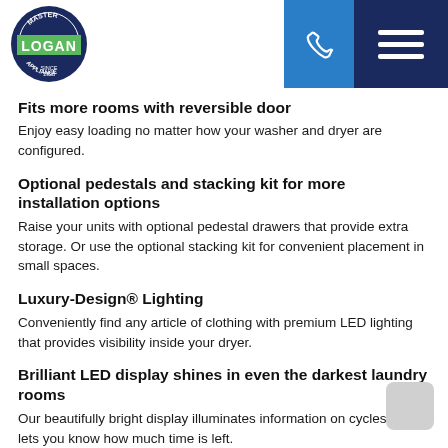Logan Appliance header with logo, phone icon, and menu icon
Fits more rooms with reversible door
Enjoy easy loading no matter how your washer and dryer are configured.
Optional pedestals and stacking kit for more installation options
Raise your units with optional pedestal drawers that provide extra storage. Or use the optional stacking kit for convenient placement in small spaces.
Luxury-Design® Lighting
Conveniently find any article of clothing with premium LED lighting that provides visibility inside your dryer.
Brilliant LED display shines in even the darkest laundry rooms
Our beautifully bright display illuminates information on cycles and lets you know how much time is left.